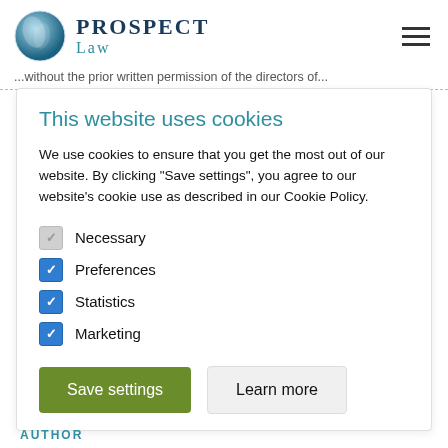Prospect Law
...without the prior written permission of the directors of...
This website uses cookies
We use cookies to ensure that you get the most out of our website. By clicking “Save settings”, you agree to our website’s cookie use as described in our Cookie Policy.
Necessary
Preferences
Statistics
Marketing
Save settings
Learn more
AUTHOR